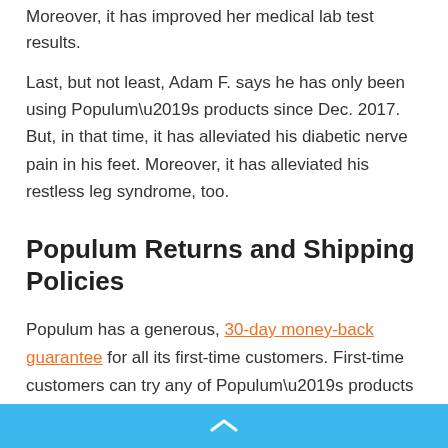Moreover, it has improved her medical lab test results.
Last, but not least, Adam F. says he has only been using Populum’s products since Dec. 2017. But, in that time, it has alleviated his diabetic nerve pain in his feet. Moreover, it has alleviated his restless leg syndrome, too.
Populum Returns and Shipping Policies
Populum has a generous, 30-day money-back guarantee for all its first-time customers. First-time customers can try any of Populum’s products for 30 days, and if they aren’t completely satisfied, they can